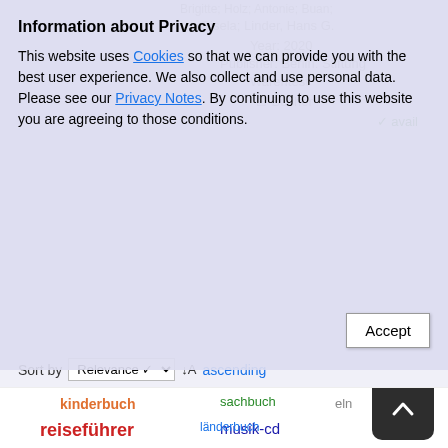Brigitte; Holz; Antonie; Buan; Gisela; Linder, Hans G. Year: 2020 Publisher: Berlin: Stiftung Warentest Bücher available
Sort by Relevance ascending
1 2 3 4 ▶ ▶| 32 record(s) 10 records per page
Print Permalink Send results as email
OPEN V 10.1.3.0
Other users searched for:
kinderbuch reiseführer eln sachbuch länderbuch musik-cd